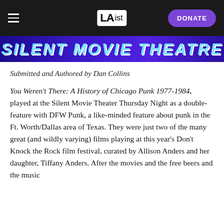LAist — DONATE
[Figure (photo): Banner image showing 'Silent Movie Theatre' text in blue neon-style lettering on a purple/blue background]
Submitted and Authored by Dan Collins
You Weren't There: A History of Chicago Punk 1977-1984, played at the Silent Movie Theater Thursday Night as a double-feature with DFW Punk, a like-minded feature about punk in the Ft. Worth/Dallas area of Texas. They were just two of the many great (and wildly varying) films playing at this year's Don't Knock the Rock film festival, curated by Allison Anders and her daughter, Tiffany Anders. After the movies and the free beers and the music